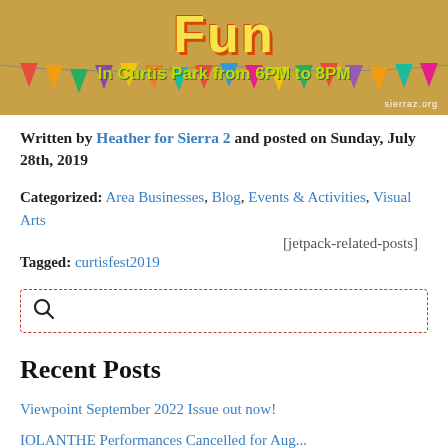[Figure (illustration): Colorful festival banner showing 'Fun' in yellow text with subtitle 'In Curtis Park from 6PM to 8PM' in green, with decorative triangle bunting flags in multiple colors on a tan/gold background. sierraz.org watermark bottom right.]
Written by Heather for Sierra 2 and posted on Sunday, July 28th, 2019
Categorized: Area Businesses, Blog, Events & Activities, Visual Arts
[jetpack-related-posts]
Tagged: curtisfest2019
[Figure (other): Search box with dashed red border and magnifying glass icon]
Recent Posts
Viewpoint September 2022 Issue out now!
IOLANTHE Performances Cancelled for Aug...